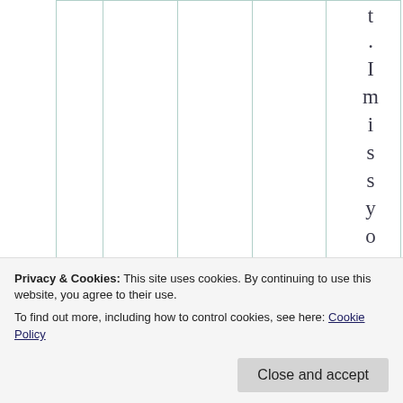|  |  |  |  |  |  | t
.
I
m
i
s
s
y
o
u
a |
|  |  |  |  |  |  | g |
Privacy & Cookies: This site uses cookies. By continuing to use this website, you agree to their use.
To find out more, including how to control cookies, see here: Cookie Policy
[Close and accept]